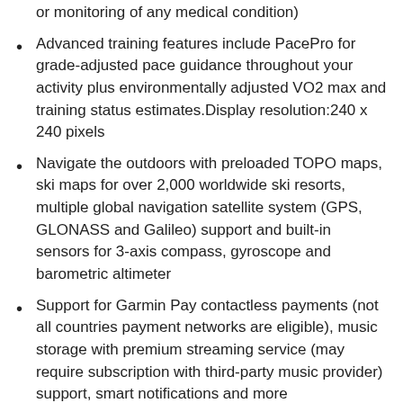or monitoring of any medical condition)
Advanced training features include PacePro for grade-adjusted pace guidance throughout your activity plus environmentally adjusted VO2 max and training status estimates.Display resolution:240 x 240 pixels
Navigate the outdoors with preloaded TOPO maps, ski maps for over 2,000 worldwide ski resorts, multiple global navigation satellite system (GPS, GLONASS and Galileo) support and built-in sensors for 3-axis compass, gyroscope and barometric altimeter
Support for Garmin Pay contactless payments (not all countries payment networks are eligible), music storage with premium streaming service (may require subscription with third-party music provider) support, smart notifications and more